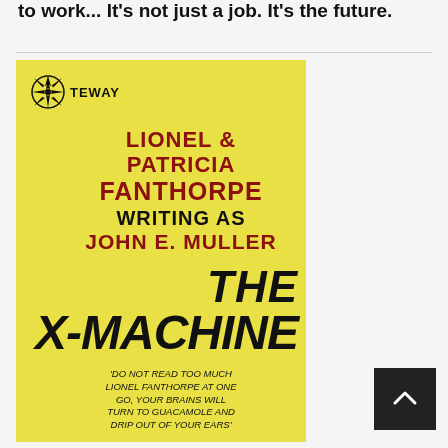to work... It's not just a job. It's the future.
[Figure (illustration): Yellow book cover for 'The X-Machine' by Lionel & Patricia Fanthorpe writing as John E. Muller, published by Gateway. Features a compass rose Gateway logo, bold author names in dark red and black, large italic title text, and a quote at the bottom.]